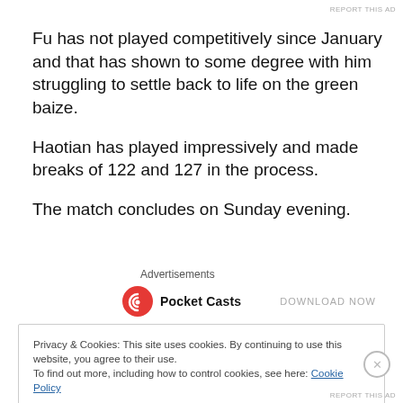REPORT THIS AD
Fu has not played competitively since January and that has shown to some degree with him struggling to settle back to life on the green baize.
Haotian has played impressively and made breaks of 122 and 127 in the process.
The match concludes on Sunday evening.
Advertisements
[Figure (logo): Pocket Casts logo with red swirl icon and bold text 'Pocket Casts', with 'DOWNLOAD NOW' on the right]
Privacy & Cookies: This site uses cookies. By continuing to use this website, you agree to their use.
To find out more, including how to control cookies, see here: Cookie Policy
Close and accept
REPORT THIS AD